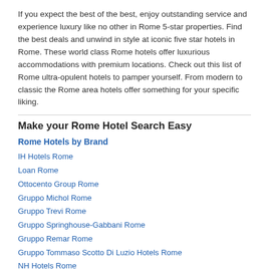If you expect the best of the best, enjoy outstanding service and experience luxury like no other in Rome 5-star properties. Find the best deals and unwind in style at iconic five star hotels in Rome. These world class Rome hotels offer luxurious accommodations with premium locations. Check out this list of Rome ultra-opulent hotels to pamper yourself. From modern to classic the Rome area hotels offer something for your specific liking.
Make your Rome Hotel Search Easy
Rome Hotels by Brand
IH Hotels Rome
Loan Rome
Ottocento Group Rome
Gruppo Michol Rome
Gruppo Trevi Rome
Gruppo Springhouse-Gabbani Rome
Gruppo Remar Rome
Gruppo Tommaso Scotto Di Luzio Hotels Rome
NH Hotels Rome
Gruppo Heberart Rome
Leonardi Hotels Rome